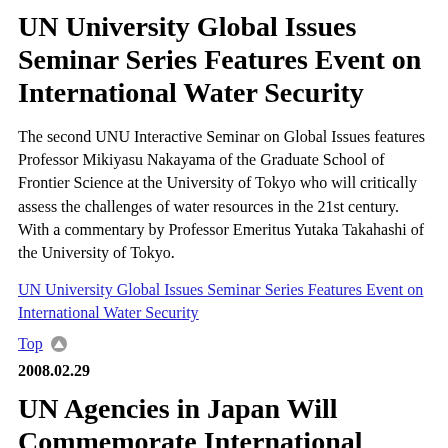UN University Global Issues Seminar Series Features Event on International Water Security
The second UNU Interactive Seminar on Global Issues features Professor Mikiyasu Nakayama of the Graduate School of Frontier Science at the University of Tokyo who will critically assess the challenges of water resources in the 21st century. With a commentary by Professor Emeritus Yutaka Takahashi of the University of Tokyo.
UN University Global Issues Seminar Series Features Event on International Water Security
Top
2008.02.29
UN Agencies in Japan Will Commemorate International Women's Day on 10 March with Public Forum